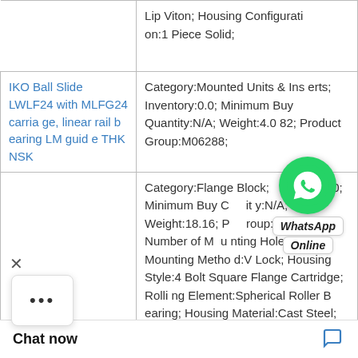| Product | Description |
| --- | --- |
|  | Lip Viton; Housing Configuration:1 Piece Solid; |
| IKO Ball Slide LWLF24 with MLFG24 carriage, linear rail bearing LM guide THK NSK | Category:Mounted Units & Inserts; Inventory:0.0; Minimum Buy Quantity:N/A; Weight:4.082; Product Group:M06288; |
| THK BK-25 U BK25 | Category:Flange Block; Inventory:0.0; Minimum Buy Quantity:N/A; Weight:18.16; Product Group:M06288; Number of Mounting Holes:4; Mounting Method:V Lock; Housing Style:4 Bolt Square Flange Cartridge; Rolling Element:Spherical Roller Bearing; Housing Material:Cast Steel; Expansion / Non-expansion; Mounting ch; Relubricatable: art Number:2222 |